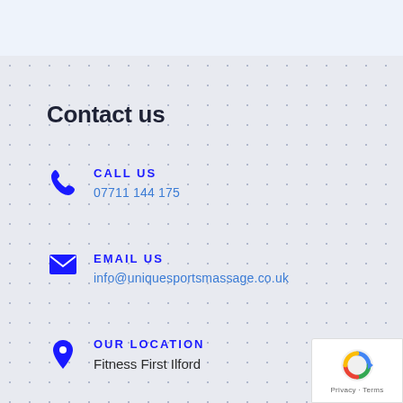Contact us
CALL US
07711 144 175
EMAIL US
info@uniquesportsmassage.co.uk
OUR LOCATION
Fitness First Ilford